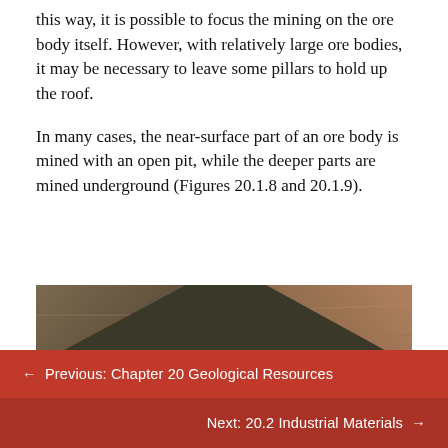this way, it is possible to focus the mining on the ore body itself. However, with relatively large ore bodies, it may be necessary to leave some pillars to hold up the roof.
In many cases, the near-surface part of an ore body is mined with an open pit, while the deeper parts are mined underground (Figures 20.1.8 and 20.1.9).
[Figure (photo): Aerial or elevated photograph of an open pit mine showing terraced rock walls, a road at the bottom, and a turquoise-green body of water in the lower right. A red circular scroll-up button is overlaid at the center.]
← Previous: Chapter 20 Geological Resources
Next: 20.2 Industrial Materials →